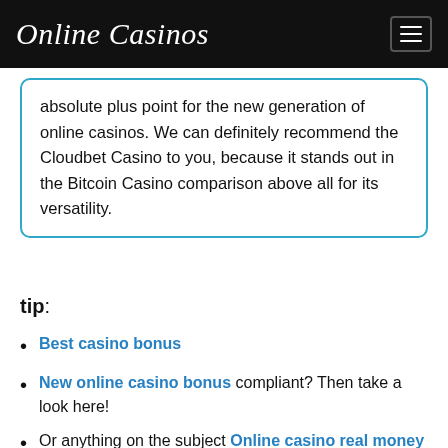Online Casinos
absolute plus point for the new generation of online casinos. We can definitely recommend the Cloudbet Casino to you, because it stands out in the Bitcoin Casino comparison above all for its versatility.
tip:
Best casino bonus
New online casino bonus compliant? Then take a look here!
Or anything on the subject Online casino real money read.